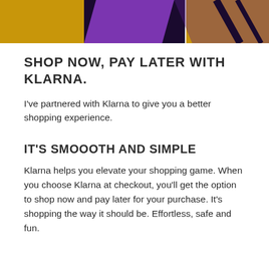[Figure (photo): Top portion of a Klarna promotional image showing purple and yellow/gold colors with abstract shapes]
SHOP NOW, PAY LATER WITH KLARNA.
I've partnered with Klarna to give you a better shopping experience.
IT'S SMOOOTH AND SIMPLE
Klarna helps you elevate your shopping game. When you choose Klarna at checkout, you'll get the option to shop now and pay later for your purchase. It's shopping the way it should be. Effortless, safe and fun.